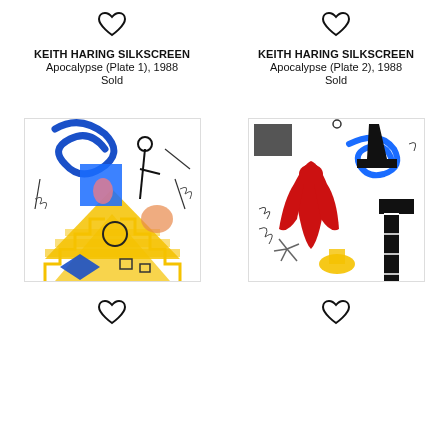[Figure (illustration): Heart/wishlist icon outline above left artwork listing]
KEITH HARING SILKSCREEN
Apocalypse (Plate 1), 1988
Sold
[Figure (illustration): Heart/wishlist icon outline above right artwork listing]
KEITH HARING SILKSCREEN
Apocalypse (Plate 2), 1988
Sold
[Figure (illustration): Keith Haring Apocalypse Plate 1 silkscreen artwork - colorful abstract with blue swirls, yellow staircase, blue diamond shapes, and black line figures on white background]
[Figure (illustration): Keith Haring Apocalypse Plate 2 silkscreen artwork - red figure, blue swirl, black line figures and patterns on white background]
[Figure (illustration): Heart/wishlist icon outline below left artwork]
[Figure (illustration): Heart/wishlist icon outline below right artwork]